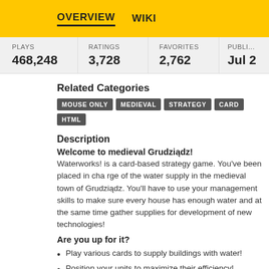OVERVIEW   WIKI
| PLAYS | RATINGS | FAVORITES | PUBLI... |
| --- | --- | --- | --- |
| 468,248 | 3,728 | 2,762 | Jul 2... |
Related Categories
MOUSE ONLY  MEDIEVAL  STRATEGY  CARD  HTML
Description
Welcome to medieval Grudziądz!
Waterworks! is a card-based strategy game. You've been placed in charge of the water supply in the medieval town of Grudziądz. You'll have to use your management skills to make sure every house has enough water and at the same time gather supplies for development of new technologies!
Are you up for it?
Play various cards to supply buildings with water!
Position your units to maximize their efficiency!
Manage your deck, decide what to keep and what to discard!
Collect resources and workers to develop new technologies!
Build a network of pipes and wells on town's map!